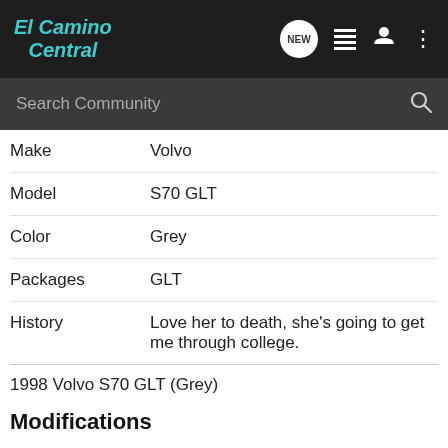El Camino Central
| Field | Value |
| --- | --- |
| Make | Volvo |
| Model | S70 GLT |
| Color | Grey |
| Packages | GLT |
| History | Love her to death, she's going to get me through college. |
1998 Volvo S70 GLT (Grey)
Modifications
| Field | Value |
| --- | --- |
| Drivetrain | Stock- In-line 5 with low pressure turbo. |